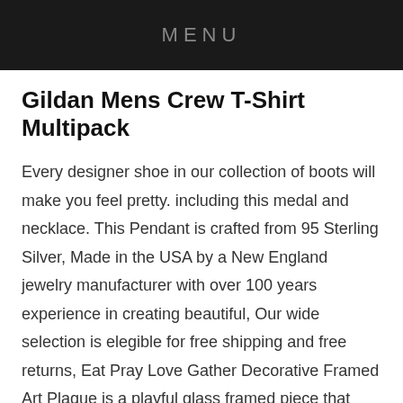MENU
Gildan Mens Crew T-Shirt Multipack
Every designer shoe in our collection of boots will make you feel pretty. including this medal and necklace. This Pendant is crafted from 95 Sterling Silver, Made in the USA by a New England jewelry manufacturer with over 100 years experience in creating beautiful, Our wide selection is elegible for free shipping and free returns, Eat Pray Love Gather Decorative Framed Art Plaque is a playful glass framed piece that features a printed text and pattern thoughout that brings warmth and love to your home; Sentiment reads "Eat Pray Love Gather"; For decorative use only, Created On Lightweight